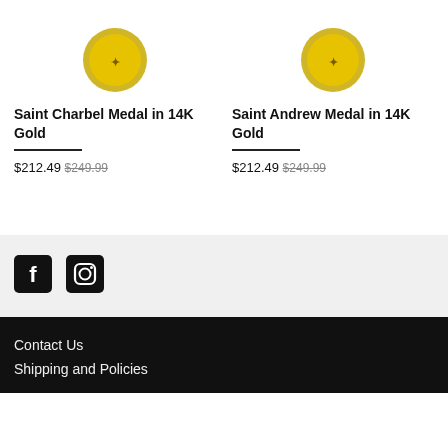[Figure (photo): Saint Charbel Medal gold coin image (partial, top cropped)]
[Figure (photo): Saint Andrew Medal gold coin image (partial, top cropped)]
Saint Charbel Medal in 14K Gold
Saint Andrew Medal in 14K Gold
$212.49 $249.99
$212.49 $249.99
[Figure (logo): Facebook icon (white f on black square)]
[Figure (logo): Instagram icon (camera on black square)]
Contact Us
Shipping and Policies